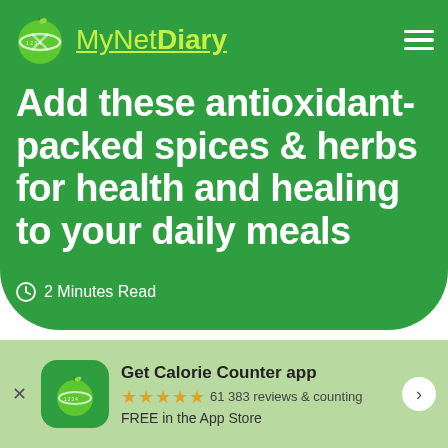MyNetDiary
Add these antioxidant-packed spices & herbs for health and healing to your daily meals
2 Minutes Read
Get Calorie Counter app ★★★★★ 61 383 reviews & counting FREE in the App Store